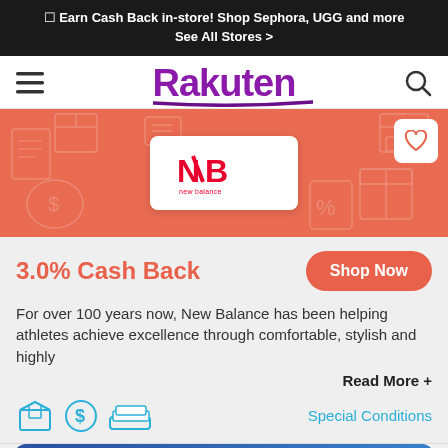☐ Earn Cash Back in-store! Shop Sephora, UGG and more
See All Stores >
[Figure (logo): Rakuten navigation bar with hamburger menu, Rakuten logo in purple, and search icon]
[Figure (screenshot): New Balance hero banner on salmon/coral background with decorative icons pattern. White card in center showing New Balance logo (red NB letters). Heart/favorite button in top right corner.]
3.0% Cash Back
Shop Now
For over 100 years now, New Balance has been helping athletes achieve excellence through comfortable, stylish and highly
Read More +
Special Conditions
New Balance
3.0%
Cash Back